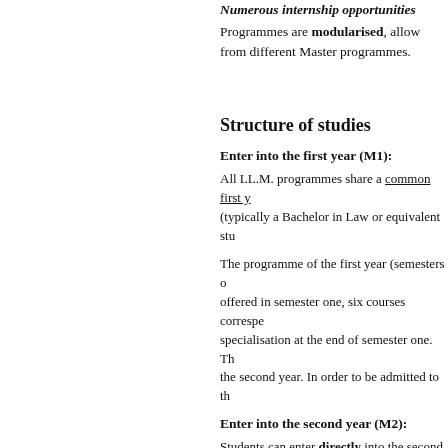Numerous internship opportunities
Programmes are modularised, allow from different Master programmes.
Structure of studies
Enter into the first year (M1):
All LL.M. programmes share a common first y (typically a Bachelor in Law or equivalent stu
The programme of the first year (semesters o offered in semester one, six courses correspe specialisation at the end of semester one. Th the second year. In order to be admitted to th
Enter into the second year (M2):
Students can enter directly into the second y successful completion of four years of studies studies including courses on European law. S